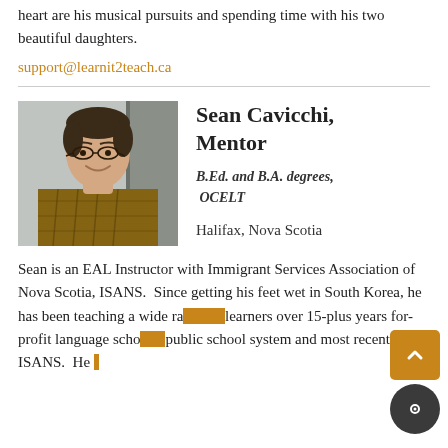heart are his musical pursuits and spending time with his two beautiful daughters.
support@learnit2teach.ca
Sean Cavicchi, Mentor
B.Ed. and B.A. degrees, OCELT
Halifax, Nova Scotia
[Figure (photo): Headshot photo of Sean Cavicchi, a man with glasses and dark hair wearing a plaid shirt, smiling at the camera.]
Sean is an EAL Instructor with Immigrant Services Association of Nova Scotia, ISANS. Since getting his feet wet in South Korea, he has been teaching a wide range of learners over 15-plus years for-profit language schools, public school system and most recently at ISANS. He has...